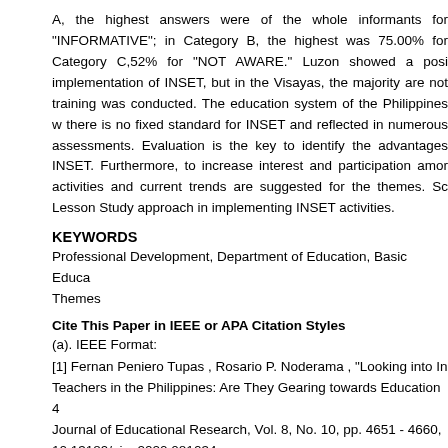A, the highest answers were of the whole informants for "INFORMATIVE"; in Category B, the highest was 75.00% for Category C,52% for "NOT AWARE." Luzon showed a positive implementation of INSET, but in the Visayas, the majority are not aware training was conducted. The education system of the Philippines where there is no fixed standard for INSET and reflected in numerous assessments. Evaluation is the key to identify the advantages of INSET. Furthermore, to increase interest and participation among activities and current trends are suggested for the themes. Sc Lesson Study approach in implementing INSET activities.
KEYWORDS
Professional Development, Department of Education, Basic Education Themes
Cite This Paper in IEEE or APA Citation Styles
(a). IEEE Format:
[1] Fernan Peniero Tupas , Rosario P. Noderama , "Looking into In Teachers in the Philippines: Are They Gearing towards Education 4 Journal of Educational Research, Vol. 8, No. 10, pp. 4651 - 4660, 10.13189/ujer.2020.081034.